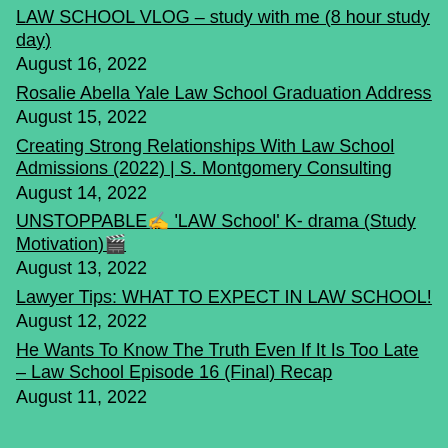LAW SCHOOL VLOG – study with me (8 hour study day) August 16, 2022
Rosalie Abella Yale Law School Graduation Address August 15, 2022
Creating Strong Relationships With Law School Admissions (2022) | S. Montgomery Consulting August 14, 2022
UNSTOPPABLE✍ 'LAW School' K- drama (Study Motivation)🎬 August 13, 2022
Lawyer Tips: WHAT TO EXPECT IN LAW SCHOOL! August 12, 2022
He Wants To Know The Truth Even If It Is Too Late – Law School Episode 16 (Final) Recap August 11, 2022